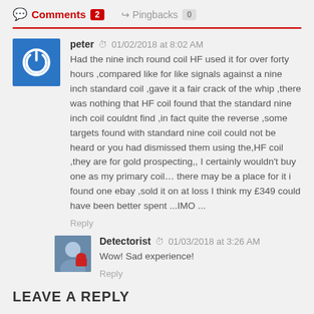Comments 2   Pingbacks 0
peter  01/02/2018 at 8:02 AM
Had the nine inch round coil HF used it for over forty hours ,compared like for like signals against a nine inch standard coil ,gave it a fair crack of the whip ,there was nothing that HF coil found that the standard nine inch coil couldnt find ,in fact quite the reverse ,some targets found with standard nine coil could not be heard or you had dismissed them using the,HF coil ,they are for gold prospecting,, I certainly wouldn't buy one as my primary coil… there may be a place for it i found one ebay ,sold it on at loss I think my £349 could have been better spent ...IMO ...
Reply
Detectorist  01/03/2018 at 3:26 AM
Wow! Sad experience!
Reply
LEAVE A REPLY